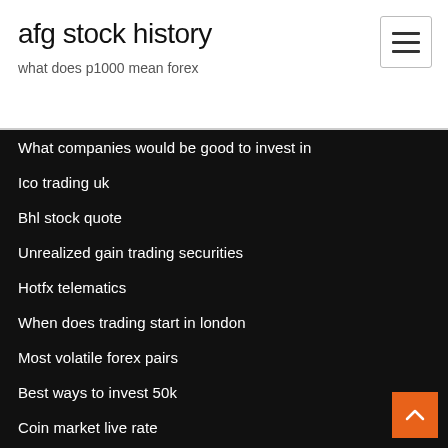afg stock history
what does p1000 mean forex
What companies would be good to invest in
Ico trading uk
Bhl stock quote
Unrealized gain trading securities
Hotfx telematics
When does trading start in london
Most volatile forex pairs
Best ways to invest 50k
Coin market live rate
Iq option broker trading online